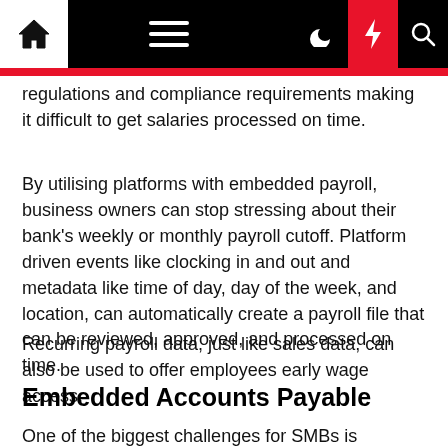Navigation bar with home, menu, moon, lightning, and search icons
regulations and compliance requirements making it difficult to get salaries processed on time.
By utilising platforms with embedded payroll, business owners can stop stressing about their bank's weekly or monthly payroll cutoff. Platform driven events like clocking in and out and metadata like time of day, day of the week, and location, can automatically create a payroll file that can be reviewed, approved, and processed on time.
Recurring payroll data, just like sales data, can also be used to offer employees early wage access.
Embedded Accounts Payable
One of the biggest challenges for SMBs is managing cash flow, especially when businesses are operating